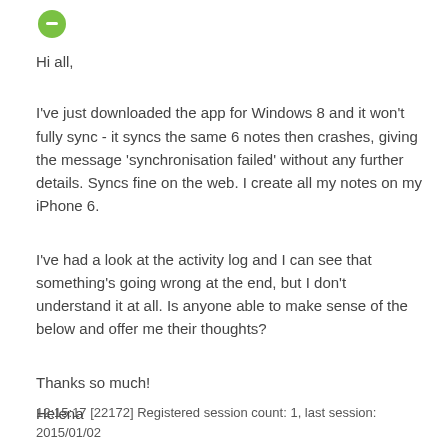[Figure (logo): Green logo icon in top left corner]
Hi all,
I've just downloaded the app for Windows 8 and it won't fully sync - it syncs the same 6 notes then crashes, giving the message 'synchronisation failed' without any further details. Syncs fine on the web. I create all my notes on my iPhone 6.
I've had a look at the activity log and I can see that something's going wrong at the end, but I don't understand it at all. Is anyone able to make sense of the below and offer me their thoughts?
Thanks so much!
Helena
12:15:17 [22172] Registered session count: 1, last session: 2015/01/02